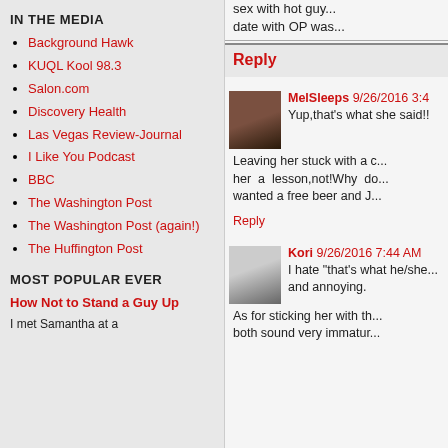sex with hot guy... date with OP was...
IN THE MEDIA
Background Hawk
KUQL Kool 98.3
Salon.com
Discovery Health
Las Vegas Review-Journal
I Like You Podcast
BBC
The Washington Post
The Washington Post (again!)
The Huffington Post
MOST POPULAR EVER
How Not to Stand a Guy Up
I met Samantha at a
Reply
MelSleeps 9/26/2016 3:4
Yup,that's what she said!!
Leaving her stuck with a ... her a lesson,not!Why do... wanted a free beer and J...
Reply
Kori 9/26/2016 7:44 AM
I hate "that's what he/she... and annoying.
As for sticking her with th... both sound very immatur...